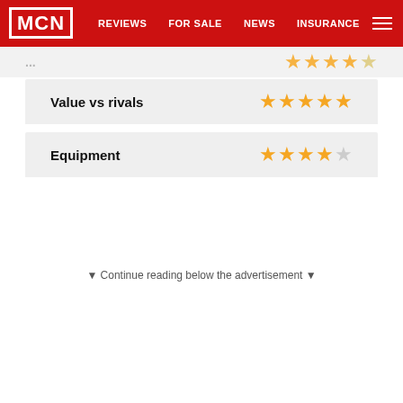MCN | REVIEWS | FOR SALE | NEWS | INSURANCE
(partially visible row with stars)
| Category | Rating |
| --- | --- |
| Value vs rivals | 4.5 stars |
| Equipment | 3.5 stars |
▼ Continue reading below the advertisement ▼